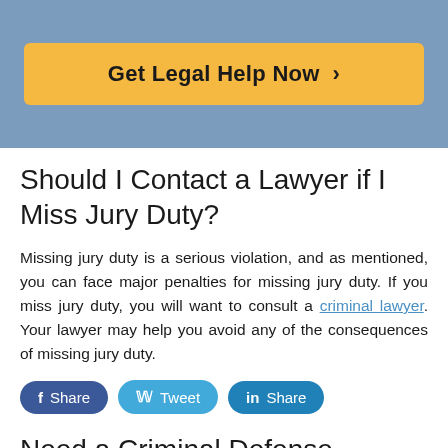[Figure (other): Orange call-to-action button reading 'Get Legal Help Now >' on a blue-grey banner background]
Should I Contact a Lawyer if I Miss Jury Duty?
Missing jury duty is a serious violation, and as mentioned, you can face major penalties for missing jury duty. If you miss jury duty, you will want to consult a criminal lawyer. Your lawyer may help you avoid any of the consequences of missing jury duty.
[Figure (other): Three social sharing buttons: Facebook Share, Twitter Tweet, LinkedIn Share]
Need a Criminal Defense Lawyer in your Area?